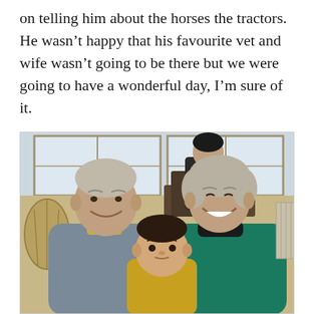on telling him about the horses the tractors. He wasn't happy that his favourite vet and wife wasn't going to be there but we were going to have a wonderful day, I'm sure of it.
[Figure (photo): A photograph of two older adults (a man in a gray sweater and a woman in a teal turtleneck) seated together, smiling, with a baby in a yellow outfit between them. A person is visible seated at a table in the background near windows.]